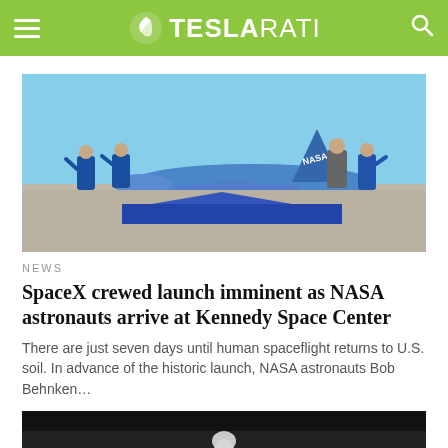TESLARATI
[Figure (photo): Four people standing in front of a NASA aircraft on a tarmac, two in blue NASA flight suits on the left, one in a gray shirt and one in a blue polo on the right, giving thumbs up]
NEWS
SpaceX crewed launch imminent as NASA astronauts arrive at Kennedy Space Center
There are just seven days until human spaceflight returns to U.S. soil. In advance of the historic launch, NASA astronauts Bob Behnken…
[Figure (photo): Dark background with rocket or spacecraft partially visible at bottom of frame]